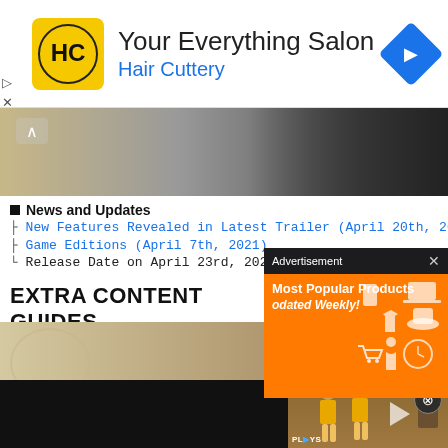[Figure (screenshot): Hair Cuttery advertisement banner with yellow HC logo, text 'Your Everything Salon' and 'Hair Cuttery', and a blue navigation icon]
[Figure (screenshot): Game artwork banner showing a character in dark armor/clothing with a chevron up arrow button]
News and Updates
New Features Revealed in Latest Trailer (April 20th, 2021)
Game Editions (April 7th, 2021)
Release Date on April 23rd, 2021
EXTRA CONTENT GUIDES
[Figure (screenshot): Game screenshot thumbnail showing illustrated game art]
[Figure (screenshot): Advertisement overlay with orange background showing 'Most Popular Products' and 'Updated Weekly!' with product icons]
[Figure (screenshot): Video player strip showing two cheerleader characters and a zombie character with PLAYS watermark and play button]